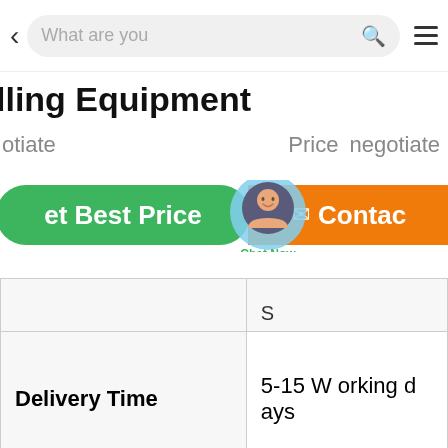< What are you [search] ≡
lling Equipment
otiate   Price negotiate
et Best Price   Contact
[Figure (illustration): Chat Now floating bubble widget with person icon]
|  | S |
| --- | --- |
| Delivery Time | 5-15 Working days |
|  |  |